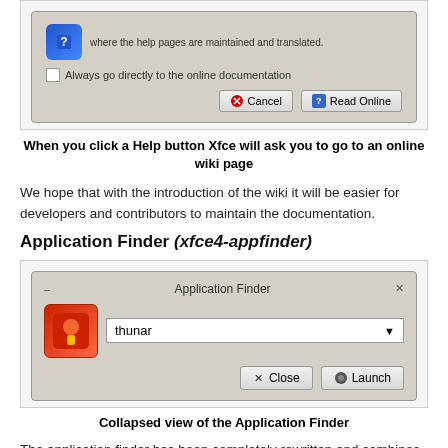[Figure (screenshot): Screenshot of an Xfce help dialog with Cancel and Read Online buttons, and a checkbox 'Always go directly to the online documentation']
When you click a Help button Xfce will ask you to go to an online wiki page
We hope that with the introduction of the wiki it will be easier for developers and contributors to maintain the documentation.
Application Finder (xfce4-appfinder)
[Figure (screenshot): Screenshot of the Application Finder collapsed view with a search field containing 'thunar', a Close button and a Launch button]
Collapsed view of the Application Finder
The application finder has been completely rewritten and combines